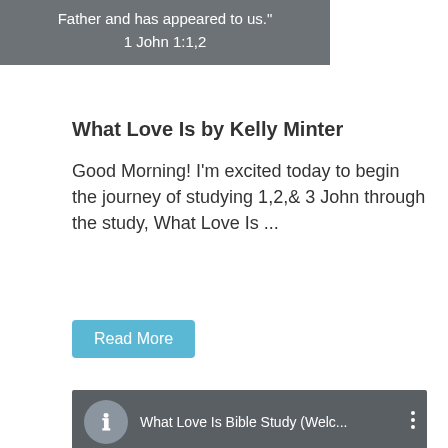[Figure (other): Gray banner with scripture text: 'Father and has appeared to us." 1 John 1:1,2' in white handwritten-style font]
What Love Is by Kelly Minter
Good Morning! I'm excited today to begin the journey of studying 1,2,& 3 John through the study, What Love Is ...
Read More
[Figure (screenshot): YouTube-style video embed panel in dark gray showing 'What Love Is Bible Study (Welc...' with info icon and three-dot menu]
What Love Is: Kelly Minter Intro Video